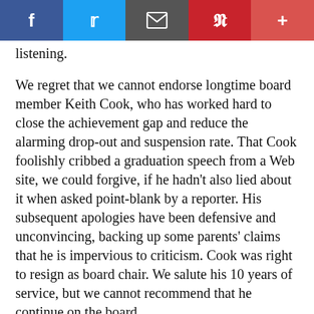Social share bar with Facebook, Twitter, Email, Pinterest, and Plus buttons
listening.
We regret that we cannot endorse longtime board member Keith Cook, who has worked hard to close the achievement gap and reduce the alarming drop-out and suspension rate. That Cook foolishly cribbed a graduation speech from a Web site, we could forgive, if he hadn't also lied about it when asked point-blank by a reporter. His subsequent apologies have been defensive and unconvincing, backing up some parents' claims that he is impervious to criticism. Cook was right to resign as board chair. We salute his 10 years of service, but we cannot recommend that he continue on the board.
Al Hartkopf is an activist with Citizens for a Sound Economy and a leader of the anti-tax bloc in